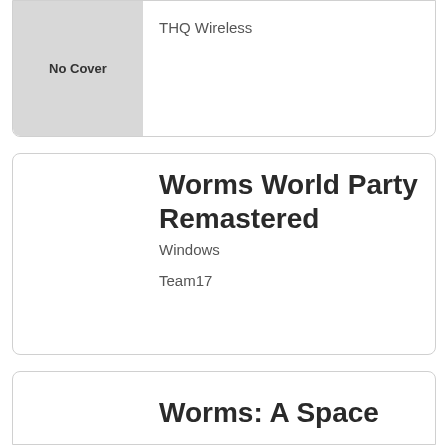No Cover
THQ Wireless
Worms World Party Remastered
Windows
Team17
Worms: A Space